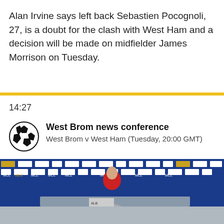Alan Irvine says left back Sebastien Pocognoli, 27, is a doubt for the clash with West Ham and a decision will be made on midfielder James Morrison on Tuesday.
14:27
West Brom news conference
West Brom v West Ham (Tuesday, 20:00 GMT)
[Figure (photo): Press conference photo showing a person in a red jacket sitting at a table in front of a blue backdrop covered with sponsor logos including MCL, adidas, and others. In the foreground, a person with grey/white hair is seen from behind.]